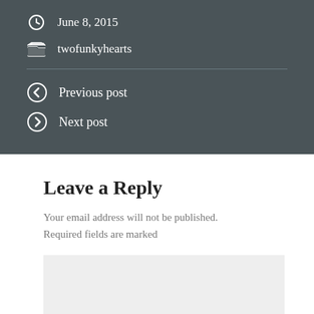June 8, 2015
twofunkyhearts
Previous post
Next post
Leave a Reply
Your email address will not be published. Required fields are marked